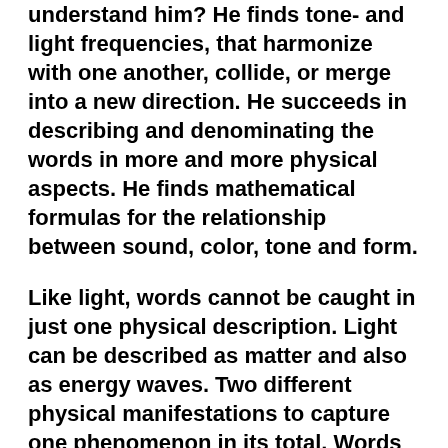understand him? He finds tone- and light frequencies, that harmonize with one another, collide, or merge into a new direction. He succeeds in describing and denominating the words in more and more physical aspects. He finds mathematical formulas for the relationship between sound, color, tone and form.
Like light, words cannot be caught in just one physical description. Light can be described as matter and also as energy waves. Two different physical manifestations to capture one phenomenon in its total. Words even have many more of those, but does that make them essentially different, less researchable in terms of phenomenon and origin?
He calls himself a lexicographical physicist. There is physical chemistry as a combination of physics and chemistry; neurology as intersection between biology and psychology. And now he has discovered the physics of words. In his spare time, in his hobby space, because